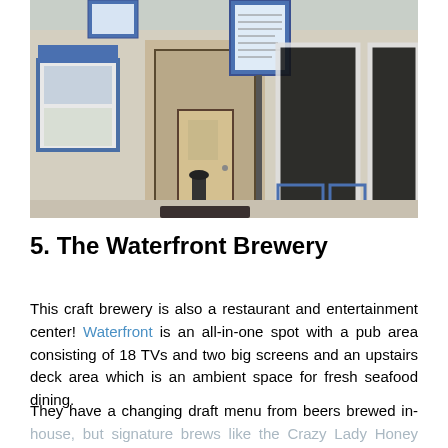[Figure (photo): Exterior storefront photo of The Waterfront Brewery showing blue-framed windows, a wooden door, an outdoor menu board, and a black bollard/post on the sidewalk.]
5. The Waterfront Brewery
This craft brewery is also a restaurant and entertainment center! Waterfront is an all-in-one spot with a pub area consisting of 18 TVs and two big screens and an upstairs deck area which is an ambient space for fresh seafood dining.
They have a changing draft menu from beers brewed in-house, but signature brews like the Crazy Lady Honey Blonde Ale, made with local honey from Bee Ranere